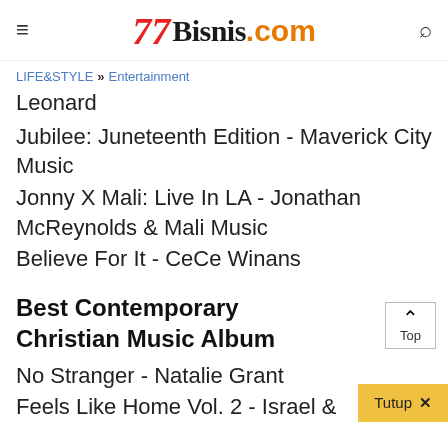77 Bisnis.com
LIFE&STYLE » Entertainment
Leonard
Jubilee: Juneteenth Edition - Maverick City Music
Jonny X Mali: Live In LA - Jonathan McReynolds & Mali Music
Believe For It - CeCe Winans
Best Contemporary Christian Music Album
No Stranger - Natalie Grant
Feels Like Home Vol. 2 - Israel & New...